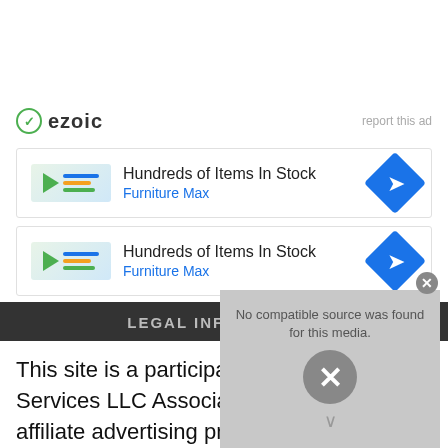[Figure (logo): Ezoic logo with green circle checkmark and 'ezoic' text, plus 'report this ad' link on the right]
[Figure (infographic): Ad block: Furniture Max - Hundreds of Items In Stock with blue navigation arrow icon]
[Figure (infographic): Ad block: Furniture Max - Hundreds of Items In Stock with blue navigation arrow icon (second)]
LEGAL INFORMATION
This site is a participant in the Amazon Services LLC Associates Program, an affiliate advertising program designed to provide a means for sites to earn
[Figure (screenshot): Video player overlay showing 'No compatible source was found for this media.' message with grey background and X close button]